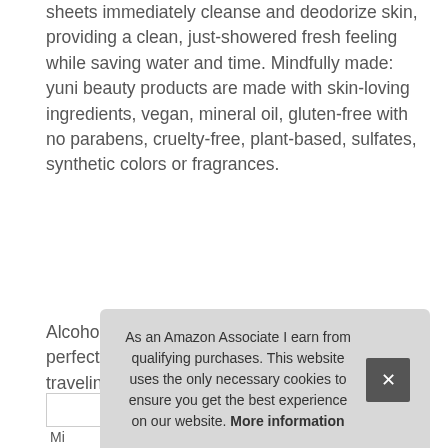sheets immediately cleanse and deodorize skin, providing a clean, just-showered fresh feeling while saving water and time. Mindfully made: yuni beauty products are made with skin-loving ingredients, vegan, mineral oil, gluten-free with no parabens, cruelty-free, plant-based, sulfates, synthetic colors or fragrances.
Alcohol-free. No time, no shower, making this a perfectly portable shower alternative when traveling on a plane, while camping, biodegradable shower wipes cleanse and deodorize so you can freshen on-the-go, on a roadtrip, NO WORRIES: These super soft, or after a sweat session at the gym. High-performing natural ingredients: neem leaf extract deodorizes, calms skin, and soothes inflammation.
As an Amazon Associate I earn from qualifying purchases. This website uses the only necessary cookies to ensure you get the best experience on our website. More information